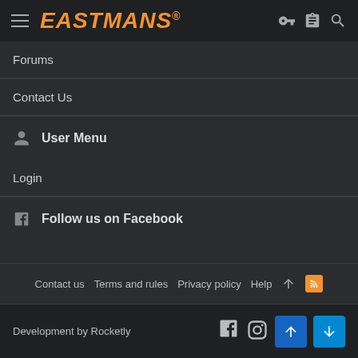EASTMANS
Forums
Contact Us
User Menu
Login
Follow us on Facebook
Contact us  Terms and rules  Privacy policy  Help
Development by Rocketly